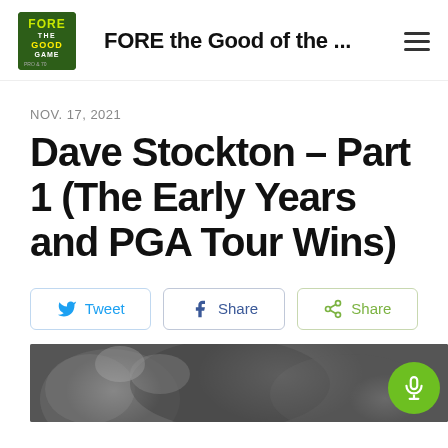FORE the Good of the ...
NOV. 17, 2021
Dave Stockton – Part 1 (The Early Years and PGA Tour Wins)
Tweet
Share
Share
[Figure (photo): Black and white photo of Dave Stockton, partially visible at bottom of page, with a green microphone button overlay in bottom-right corner]